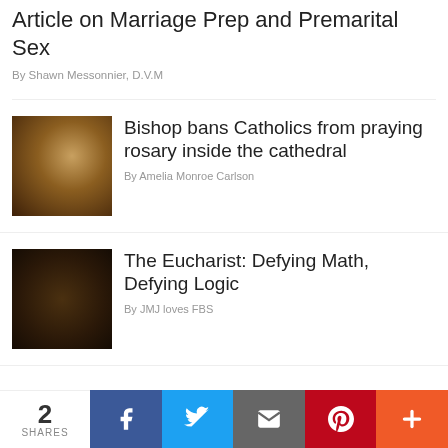Article on Marriage Prep and Premarital Sex
By Shawn Messonnier, D.V.M
[Figure (photo): Man holding rosary beads up to his face]
Bishop bans Catholics from praying rosary inside the cathedral
By Amelia Monroe Carlson
[Figure (photo): Eucharist communion plates with bread/wafers]
The Eucharist: Defying Math, Defying Logic
By JMJ loves FBS
2 SHARES | Facebook | Twitter | Email | Pinterest | More